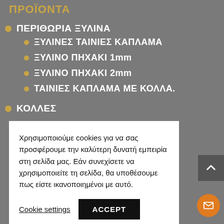ΠΡΟΪΟΝΤΑ
ΠΕΡΙΘΩΡΙΑ ΞΥΛΙΝΑ
ΞΥΛΙΝΕΣ ΤΑΙΝΙΕΣ ΚΑΠΛΑΜΑ
ΞΥΛΙΝΟ ΠΗΧΑΚΙ 1mm
ΞΥΛΙΝΟ ΠΗΧΑΚΙ 2mm
ΤΑΙΝΙΕΣ ΚΑΠΛΑΜΑ ΜΕ ΚΟΛΛΑ.
ΚΟΛΛΕΣ
Χρησιμοποιούμε cookies για να σας προσφέρουμε την καλύτερη δυνατή εμπειρία στη σελίδα μας. Εάν συνεχίσετε να χρησιμοποιείτε τη σελίδα, θα υποθέσουμε πως είστε ικανοποιημένοι με αυτό.
Cookie settings   ACCEPT